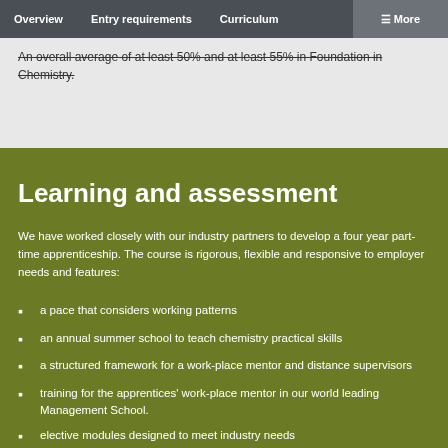Overview | Entry requirements | Curriculum | ☰ More
An overall average of at least 50% and at least 55% in Foundation in Chemistry.
Learning and assessment
We have worked closely with our industry partners to develop a four year part-time apprenticeship. The course is rigorous, flexible and responsive to employer needs and features:
a pace that considers working patterns
an annual summer school to teach chemistry practical skills
a structured framework for a work-place mentor and distance supervisors
training for the apprentices' work-place mentor in our world leading Management School.
elective modules designed to meet industry needs